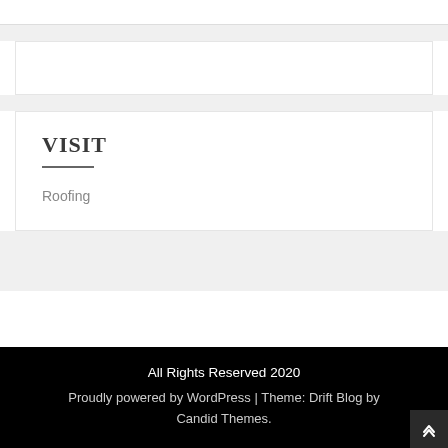VISIT
Roofing
All Rights Reserved 2020
Proudly powered by WordPress | Theme: Drift Blog by Candid Themes.